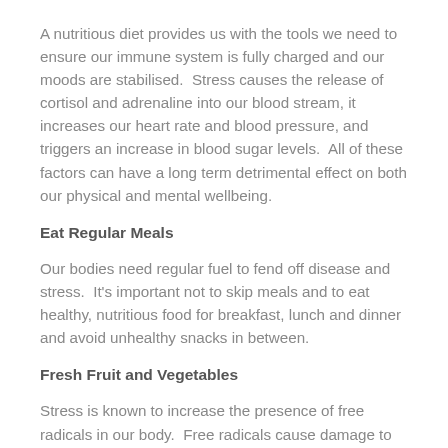A nutritious diet provides us with the tools we need to ensure our immune system is fully charged and our moods are stabilised.  Stress causes the release of cortisol and adrenaline into our blood stream, it increases our heart rate and blood pressure, and triggers an increase in blood sugar levels.  All of these factors can have a long term detrimental effect on both our physical and mental wellbeing.
Eat Regular Meals
Our bodies need regular fuel to fend off disease and stress.  It's important not to skip meals and to eat healthy, nutritious food for breakfast, lunch and dinner and avoid unhealthy snacks in between.
Fresh Fruit and Vegetables
Stress is known to increase the presence of free radicals in our body.  Free radicals cause damage to our cells, proteins and DNA.  Fresh fruit and vegetables contain many vitamins